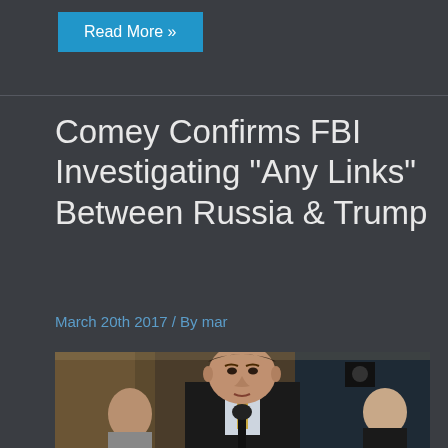Read More »
Comey Confirms FBI Investigating “Any Links” Between Russia & Trump
March 20th 2017 / By mar
[Figure (photo): A man in a dark suit testifying or speaking at a hearing, with a microphone in front of him. Other individuals are visible in the background. The setting appears to be a congressional hearing room.]